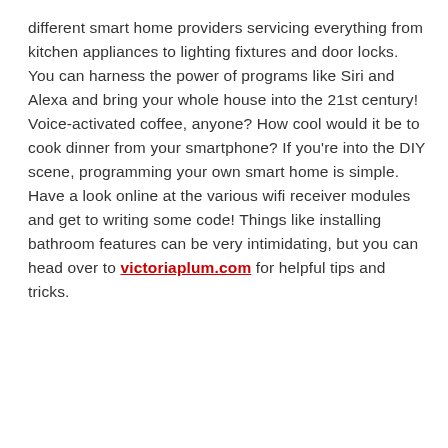different smart home providers servicing everything from kitchen appliances to lighting fixtures and door locks. You can harness the power of programs like Siri and Alexa and bring your whole house into the 21st century! Voice-activated coffee, anyone? How cool would it be to cook dinner from your smartphone? If you're into the DIY scene, programming your own smart home is simple. Have a look online at the various wifi receiver modules and get to writing some code! Things like installing bathroom features can be very intimidating, but you can head over to victoriaplum.com for helpful tips and tricks.